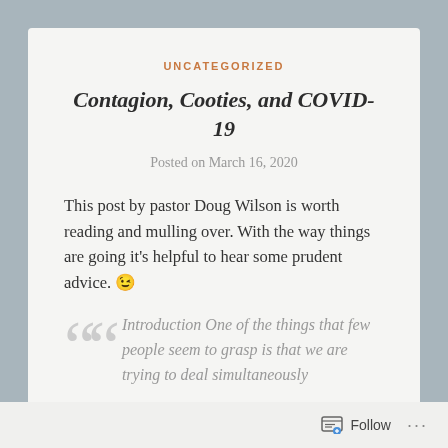UNCATEGORIZED
Contagion, Cooties, and COVID-19
Posted on March 16, 2020
This post by pastor Doug Wilson is worth reading and mulling over. With the way things are going it’s helpful to hear some prudent advice. 😉
Introduction One of the things that few people seem to grasp is that we are trying to deal simultaneously
Follow